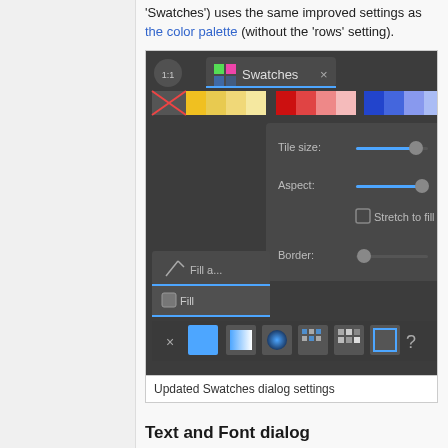'Swatches') uses the same improved settings as the color palette (without the 'rows' setting).
[Figure (screenshot): Updated Swatches dialog settings screenshot showing swatches panel with color tiles, Tile size slider, Aspect slider, Stretch to fill checkbox, Border slider, Fill and stroke options, and fill type buttons at bottom]
Updated Swatches dialog settings
Text and Font dialog
...